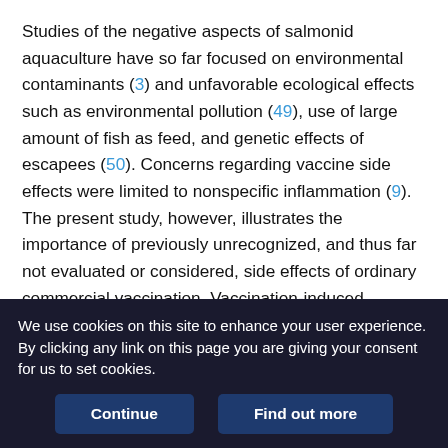Studies of the negative aspects of salmonid aquaculture have so far focused on environmental contaminants (3) and unfavorable ecological effects such as environmental pollution (49), use of large amount of fish as feed, and genetic effects of escapees (50). Concerns regarding vaccine side effects were limited to nonspecific inflammation (9). The present study, however, illustrates the importance of previously unrecognized, and thus far not evaluated or considered, side effects of ordinary commercial vaccination. Vaccination-induced autoimmunity in farmed Atlantic salmon will have significant impacts on future vaccine development and salmon farming strategy, in addition to on animal welfare. Several alternative vaccine strategies are currently under development, including DNA vaccine and use of
We use cookies on this site to enhance your user experience. By clicking any link on this page you are giving your consent for us to set cookies.